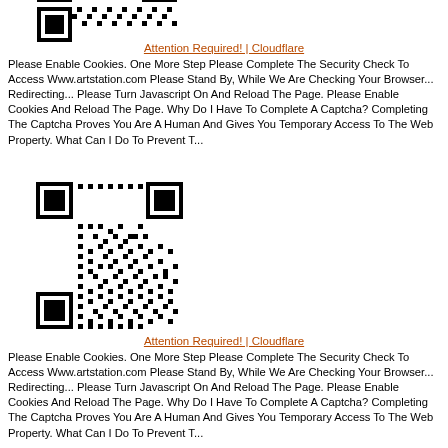[Figure (other): QR code (partial, top cropped)]
Attention Required! | Cloudflare
Please Enable Cookies. One More Step Please Complete The Security Check To Access Www.artstation.com Please Stand By, While We Are Checking Your Browser... Redirecting... Please Turn Javascript On And Reload The Page. Please Enable Cookies And Reload The Page. Why Do I Have To Complete A Captcha? Completing The Captcha Proves You Are A Human And Gives You Temporary Access To The Web Property. What Can I Do To Prevent T...
[Figure (other): QR code (full)]
Attention Required! | Cloudflare
Please Enable Cookies. One More Step Please Complete The Security Check To Access Www.artstation.com Please Stand By, While We Are Checking Your Browser... Redirecting... Please Turn Javascript On And Reload The Page. Please Enable Cookies And Reload The Page. Why Do I Have To Complete A Captcha? Completing The Captcha Proves You Are A Human And Gives You Temporary Access To The Web Property. What Can I Do To Prevent T...